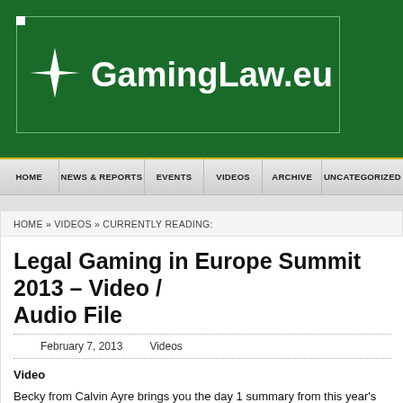[Figure (logo): GamingLaw.eu website logo with four-pointed star on dark green background]
HOME   NEWS & REPORTS   EVENTS   VIDEOS   ARCHIVE   UNCATEGORIZED
HOME » VIDEOS » CURRENTLY READING:
Legal Gaming in Europe Summit 2013 – Video / Audio File
February 7, 2013   Videos
Video
Becky from Calvin Ayre brings you the day 1 summary from this year's 7th Annual Legal Gaming in Europe Summit at the Hilton Hotel London